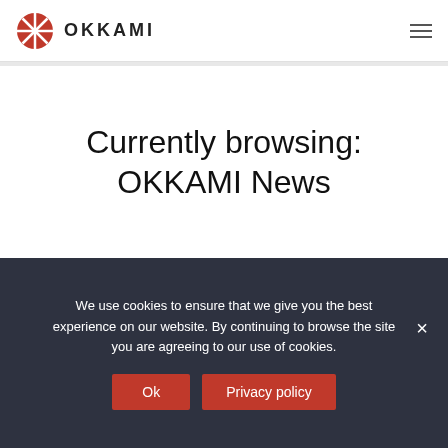OKKAMI
Currently browsing: OKKAMI News
We use cookies to ensure that we give you the best experience on our website. By continuing to browse the site you are agreeing to our use of cookies.
Ok   Privacy policy